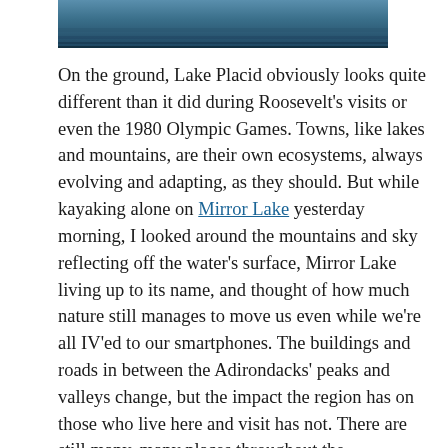[Figure (photo): Partial view of a lake or water scene photo at the top of the page, cropped — shows dark water with bluish tones, bottom portion of the image visible.]
On the ground, Lake Placid obviously looks quite different than it did during Roosevelt’s visits or even the 1980 Olympic Games. Towns, like lakes and mountains, are their own ecosystems, always evolving and adapting, as they should. But while kayaking alone on Mirror Lake yesterday morning, I looked around the mountains and sky reflecting off the water’s surface, Mirror Lake living up to its name, and thought of how much nature still manages to move us even while we’re all IV’ed to our smartphones. The buildings and roads in between the Adirondacks’ peaks and valleys change, but the impact the region has on those who live here and visit has not. There are still many, many places throughout the Adirondacks where you can’t get any cell service, and as long as there’s no emergency, this feels like a wonderful thing. To kayak alone on a serene lake without my iPhone on me, to be out there early enough before all the paddleboarders and boaters woke up, and to feel like I had the sky and lake and